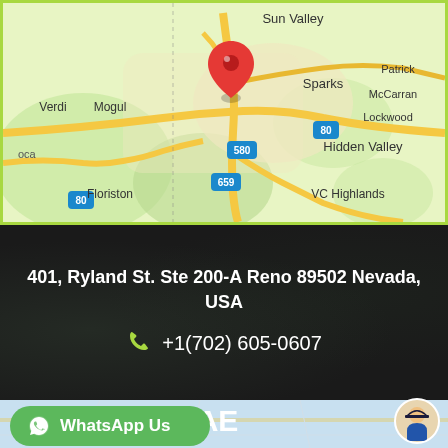[Figure (map): Google Maps view showing Reno/Sparks area in Nevada, USA with a red location pin marker. Shows places: Sun Valley, Sparks, Patrick, McCarran, Lockwood, Hidden Valley, Mogul, Verdi, Floriston, VC Highlands, with highway markers 80, 580, 659.]
401, Ryland St. Ste 200-A Reno 89502 Nevada, USA
+1(702) 605-0607
UAE
WhatsApp Us
[Figure (map): Partial second map visible at the bottom of the page (UAE section map, partially visible).]